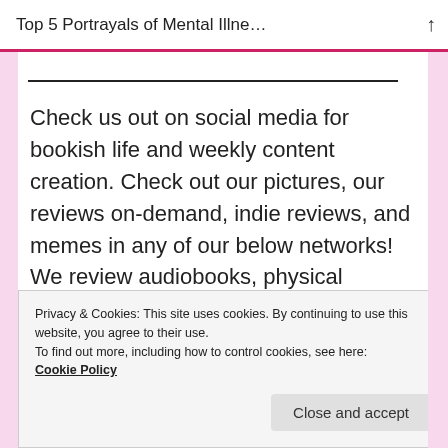Top 5 Portrayals of Mental Illne…
Check us out on social media for bookish life and weekly content creation. Check out our pictures, our reviews on-demand, indie reviews, and memes in any of our below networks! We review audiobooks, physical books, and ebooks, and share bookish news!
Privacy & Cookies: This site uses cookies. By continuing to use this website, you agree to their use.
To find out more, including how to control cookies, see here: Cookie Policy
Close and accept